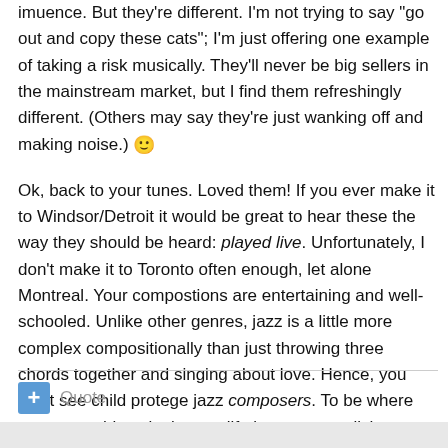imuence. But they're different. I'm not trying to say "go out and copy these cats"; I'm just offering one example of taking a risk musically. They'll never be big sellers in the mainstream market, but I find them refreshingly different. (Others may say they're just wanking off and making noise.) 🙂
Ok, back to your tunes. Loved them! If you ever make it to Windsor/Detroit it would be great to hear these the way they should be heard: played live. Unfortunately, I don't make it to Toronto often enough, let alone Montreal. Your compostions are entertaining and well-schooled. Unlike other genres, jazz is a little more complex compositionally than just throwing three chords together and singing about love. Hence, you don't see child protege jazz composers. To be where you are at this point in your life is an accomplishment, and I look forward to hearing from you as you grow musically.